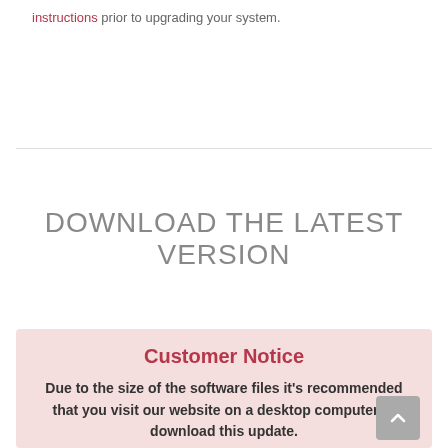instructions prior to upgrading your system.
DOWNLOAD THE LATEST VERSION
Customer Notice
Due to the size of the software files it's recommended that you visit our website on a desktop computer to download this update.
Alternatively, you can update directly from your LightHouse 3...